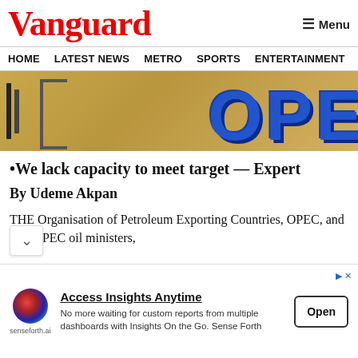Vanguard
HOME  LATEST NEWS  METRO  SPORTS  ENTERTAINMENT  VIDEOS
[Figure (photo): OPEC sign on a yellow-gold background with blue letters]
•We lack capacity to meet target — Expert
By Udeme Akpan
THE Organisation of Petroleum Exporting Countries, OPEC, and non-OPEC oil ministers,
[Figure (infographic): Advertisement banner: Access Insights Anytime — senseforth.ai — No more waiting for custom reports from multiple dashboards with Insights On the Go. Sense Forth — Open button]